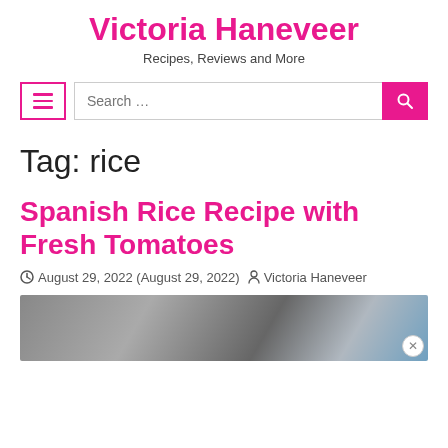Victoria Haneveer
Recipes, Reviews and More
[Figure (screenshot): Search bar with hamburger menu icon on left and pink search button on right]
Tag: rice
Spanish Rice Recipe with Fresh Tomatoes
August 29, 2022 (August 29, 2022)  Victoria Haneveer
[Figure (photo): Photo of cooking pots on stove with someone cooking]